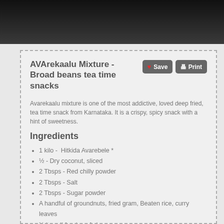[Figure (photo): Dark background food photo at the top of the page]
AVArekaalu Mixture - Broad beans tea time snacks
Avarekaalu mixture is one of the most addictive, loved deep fried, tea time snack from Karnataka. It is a crispy, spicy snack with a hint of sweetness.
Ingredients
1 kilo -  Hitkida Avarebele *
½ - Dry coconut, sliced
2 Tbsps - Red chilly powder
2 Tbsps - Salt
2 Tbsps - Sugar powder
A handful of groundnuts, fried gram, Beaten rice, curry leaves
½ ltr - oil for deep frying
Instructions
1. Wash the avarebele well and spread it on a muslin cloth and